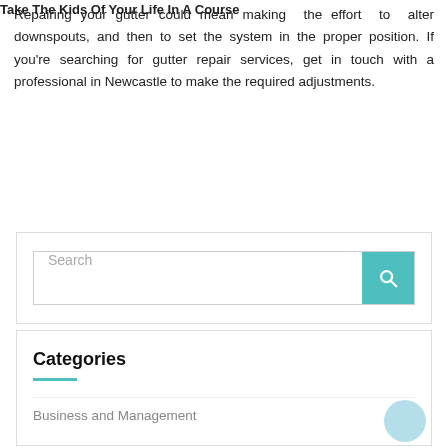Take The Kids Of Your Life In A Course
Repairing your gutter could mean making the effort to alter downspouts, and then to set the system in the proper position. If you're searching for gutter repair services, get in touch with a professional in Newcastle to make the required adjustments.
Search
Categories
Business and Management